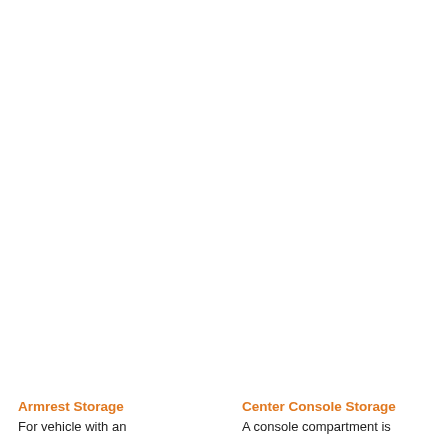Armrest Storage
For vehicle with an
Center Console Storage
A console compartment is